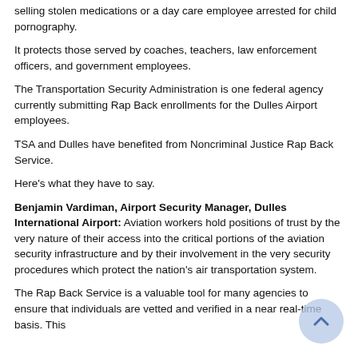selling stolen medications or a day care employee arrested for child pornography.
It protects those served by coaches, teachers, law enforcement officers, and government employees.
The Transportation Security Administration is one federal agency currently submitting Rap Back enrollments for the Dulles Airport employees.
TSA and Dulles have benefited from Noncriminal Justice Rap Back Service.
Here's what they have to say.
Benjamin Vardiman, Airport Security Manager, Dulles International Airport: Aviation workers hold positions of trust by the very nature of their access into the critical portions of the aviation security infrastructure and by their involvement in the very security procedures which protect the nation's air transportation system.
The Rap Back Service is a valuable tool for many agencies to ensure that individuals are vetted and verified in a near real-time basis. This